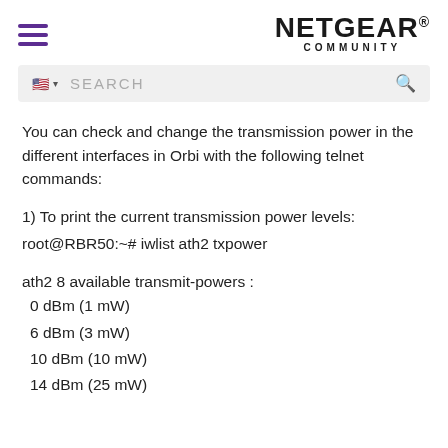NETGEAR COMMUNITY
You can check and change the transmission power in the different interfaces in Orbi with the following telnet commands:
1) To print the current transmission power levels:
root@RBR50:~# iwlist ath2 txpower
ath2 8 available transmit-powers :
0 dBm (1 mW)
6 dBm (3 mW)
10 dBm (10 mW)
14 dBm (25 mW)